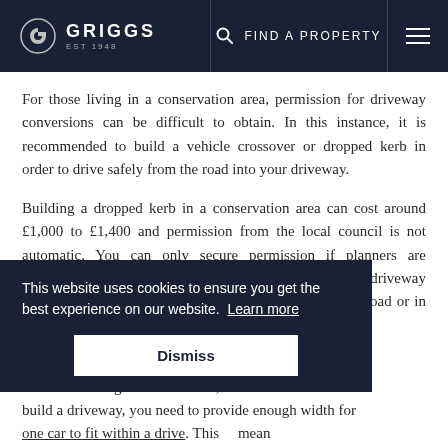GRIGGS EST 1948 | FIND A PROPERTY | [menu]
For those living in a conservation area, permission for driveway conversions can be difficult to obtain. In this instance, it is recommended to build a vehicle crossover or dropped kerb in order to drive safely from the road into your driveway.
Building a dropped kerb in a conservation area can cost around £1,000 to £1,400 and permission from the local council is not automatic. You can only secure permission if planners are convinced that you will be able to enter and leave the driveway safely. Subsequently, those seeking planning on a busy road or in close proximity to a bus [stop will find it more difficult]... [need] to think about [something] ... [able to provide] enough width for [one car to fit within a drive]... This [may] mean knocking down a front boundary wall. You can do this
This website uses cookies to ensure you get the best experience on our website. Learn more
Dismiss